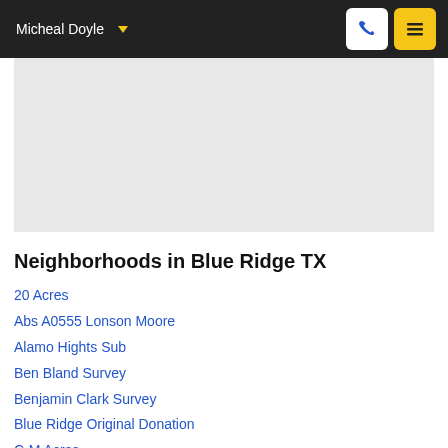Micheal Doyle
[Figure (map): Gray map area showing Blue Ridge TX region]
Neighborhoods in Blue Ridge TX
20 Acres
Abs A0555 Lonson Moore
Alamo Hights Sub
Ben Bland Survey
Benjamin Clark Survey
Blue Ridge Original Donation
C-M Acres
Country Place